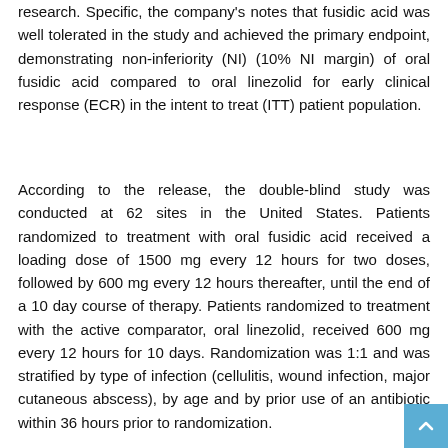research. Specific, the company's notes that fusidic acid was well tolerated in the study and achieved the primary endpoint, demonstrating non-inferiority (NI) (10% NI margin) of oral fusidic acid compared to oral linezolid for early clinical response (ECR) in the intent to treat (ITT) patient population.
According to the release, the double-blind study was conducted at 62 sites in the United States. Patients randomized to treatment with oral fusidic acid received a loading dose of 1500 mg every 12 hours for two doses, followed by 600 mg every 12 hours thereafter, until the end of a 10 day course of therapy. Patients randomized to treatment with the active comparator, oral linezolid, received 600 mg every 12 hours for 10 days. Randomization was 1:1 and was stratified by type of infection (cellulitis, wound infection, major cutaneous abscess), by age and by prior use of an antibiotic within 36 hours prior to randomization.